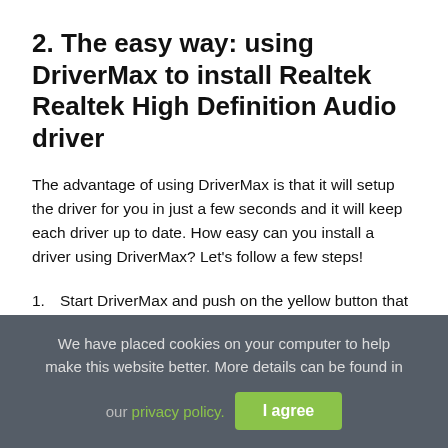2. The easy way: using DriverMax to install Realtek Realtek High Definition Audio driver
The advantage of using DriverMax is that it will setup the driver for you in just a few seconds and it will keep each driver up to date. How easy can you install a driver using DriverMax? Let's follow a few steps!
1. Start DriverMax and push on the yellow button that says ~SCAN FOR DRIVER UPDATES NOW~. Wait for DriverMax to analyze each driver on your computer.
2.
We have placed cookies on your computer to help make this website better. More details can be found in our privacy policy.
I agree